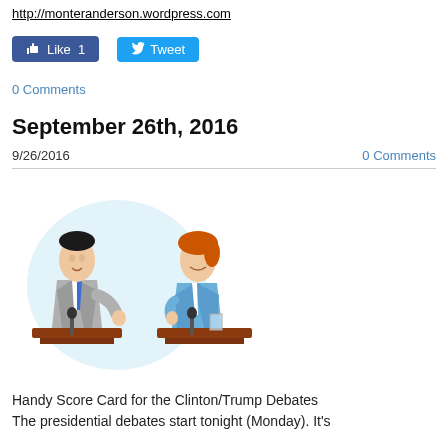http://monteranderson.wordpress.com
[Figure (screenshot): Facebook Like button showing 'Like 1' and Twitter Tweet button]
0 Comments
September 26th, 2016
9/26/2016
0 Comments
[Figure (illustration): Cartoon illustration of two debate podiums with a man in a gray suit on the left and a woman with red hair in a blue jacket on the right, both at podiums with microphones]
Handy Score Card for the Clinton/Trump Debates
The presidential debates start tonight (Monday). It's